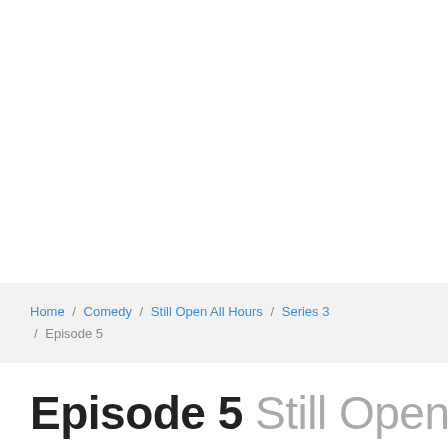Home / Comedy / Still Open All Hours / Series 3 / Episode 5
Episode 5 Still Open All